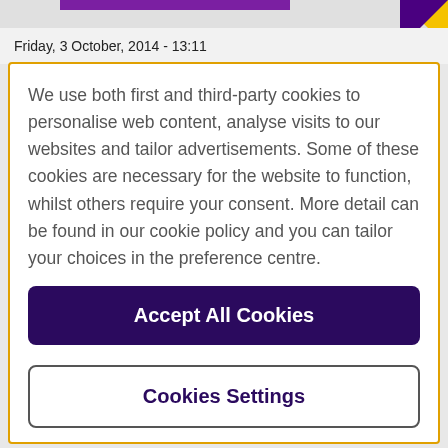Friday, 3 October, 2014 - 13:11
We use both first and third-party cookies to personalise web content, analyse visits to our websites and tailor advertisements. Some of these cookies are necessary for the website to function, whilst others require your consent. More detail can be found in our cookie policy and you can tailor your choices in the preference centre.
Accept All Cookies
Cookies Settings